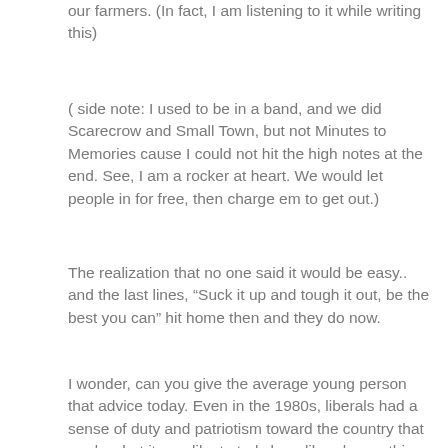our farmers. (In fact, I am listening to it while writing this)
( side note: I used to be in a band, and we did Scarecrow and Small Town, but not Minutes to Memories cause I could not hit the high notes at the end. See, I am a rocker at heart. We would let people in for free, then charge em to get out.)
The realization that no one said it would be easy.. and the last lines, “Suck it up and tough it out, be the best you can” hit home then and they do now.
I wonder, can you give the average young person that advice today. Even in the 1980s, liberals had a sense of duty and patriotism toward the country that made what it was like to truly be a liberal something that did involve patriotism. Perhaps I am speaking for myself, because until 1982, I identified all the time with that, and still believe I have not changed. I also